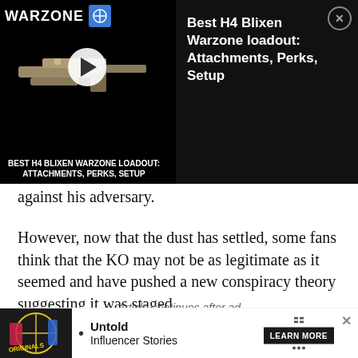[Figure (screenshot): Video ad overlay for 'Best H4 Blixen Warzone loadout: Attachments, Perks, Setup' showing a gun thumbnail with play button on dark background, with close button (X)]
against his adversary.
However, now that the dust has settled, some fans think that the KO may not be as legitimate as it seemed and have pushed a new conspiracy theory suggesting it was staged.
Article continues after ad
[Figure (other): Gray advertisement placeholder block]
[Figure (other): Bottom banner ad for 'Originals - Untold Influencer Stories' with Learn More button]